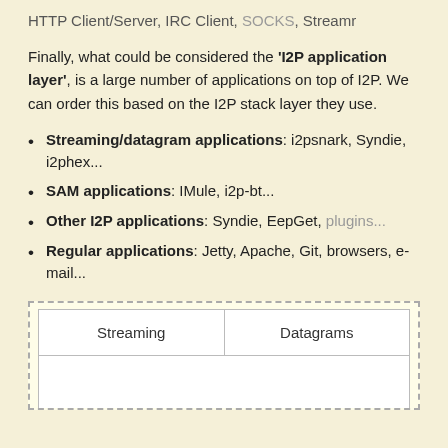HTTP Client/Server, IRC Client, SOCKS, Streamr
Finally, what could be considered the 'I2P application layer', is a large number of applications on top of I2P. We can order this based on the I2P stack layer they use.
Streaming/datagram applications: i2psnark, Syndie, i2phex...
SAM applications: IMule, i2p-bt...
Other I2P applications: Syndie, EepGet, plugins...
Regular applications: Jetty, Apache, Git, browsers, e-mail...
[Figure (table-as-image): Diagram showing I2P stack layers with Streaming and Datagrams cells visible in a dashed-border box]